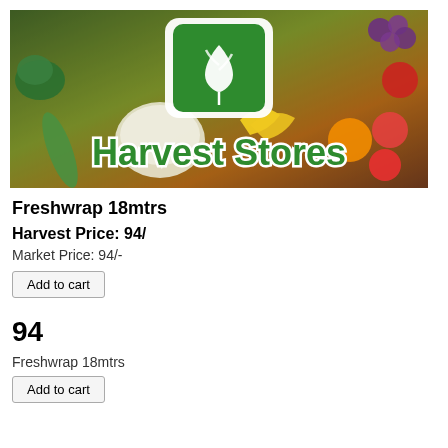[Figure (logo): Harvest Stores banner with vegetables and fruits background, green logo with leaf symbol, text 'Harvest Stores' in green]
Freshwrap 18mtrs
Harvest Price: 94/
Market Price: 94/-
Add to cart
94
Freshwrap 18mtrs
Add to cart